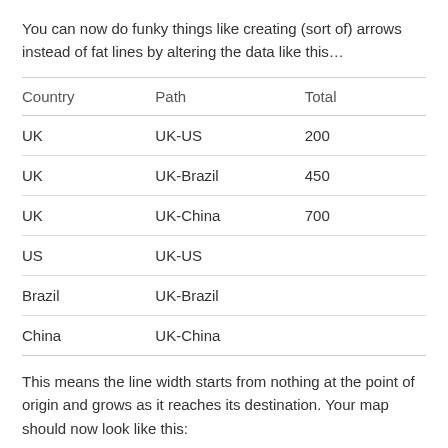You can now do funky things like creating (sort of) arrows instead of fat lines by altering the data like this…
| Country | Path | Total |
| --- | --- | --- |
| UK | UK-US | 200 |
| UK | UK-Brazil | 450 |
| UK | UK-China | 700 |
| US | UK-US |  |
| Brazil | UK-Brazil |  |
| China | UK-China |  |
This means the line width starts from nothing at the point of origin and grows as it reaches its destination. Your map should now look like this:
[Figure (map): Partial view of a world map showing flow lines between countries, rendered in light grey tones.]